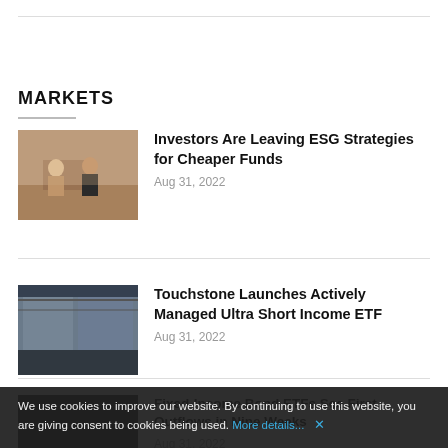MARKETS
[Figure (photo): Two women in a business meeting at a desk, one holding a tablet]
Investors Are Leaving ESG Strategies for Cheaper Funds
Aug 31, 2022
[Figure (photo): Modern empty office space with large windows and industrial ceiling]
Touchstone Launches Actively Managed Ultra Short Income ETF
Aug 31, 2022
[Figure (photo): Dark blurry financial or business related image]
Fixed-Income Bond ETFs See First Outflows in Nine Weeks
Aug 31, 2022
We use cookies to improve our website. By continuing to use this website, you are giving consent to cookies being used. More details... ✕